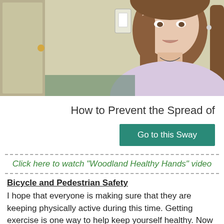[Figure (photo): A woman with long brown hair wearing a light purple/lavender top, sitting indoors with a door and light switches visible in the background. The image appears to be a video screenshot.]
How to Prevent the Spread of
Go to this Sway
Click here to watch "Woodland Healthy Hands" video
Bicycle and Pedestrian Safety
I hope that everyone is making sure that they are keeping physically active during this time. Getting exercise is one way to help keep yourself healthy. Now that the weather